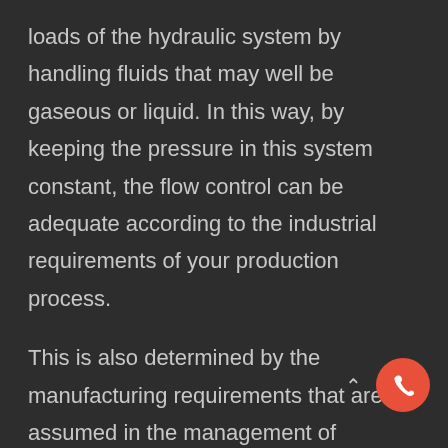loads of the hydraulic system by handling fluids that may well be gaseous or liquid. In this way, by keeping the pressure in this system constant, the flow control can be adequate according to the industrial requirements of your production process.
This is also determined by the manufacturing requirements that are assumed in the management of materials, since a factory that is responsible for manufacturing consumer goods will have a greater or lesser use than in other complexes, such as the pharmaceutical industry.
Despite this, the premise on where the pressure